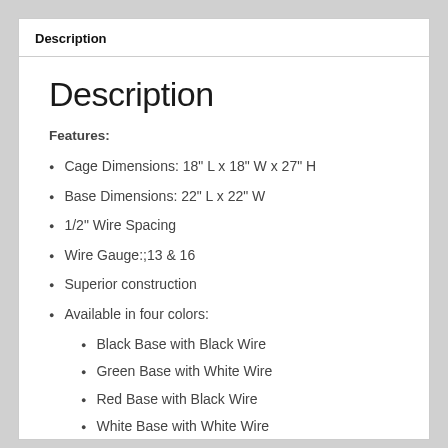Description
Description
Features:
Cage Dimensions: 18" L x 18" W x 27" H
Base Dimensions: 22" L x 22" W
1/2" Wire Spacing
Wire Gauge:;13 & 16
Superior construction
Available in four colors:
Black Base with Black Wire
Green Base with White Wire
Red Base with Black Wire
White Base with White Wire
Uniquely molded plastic base